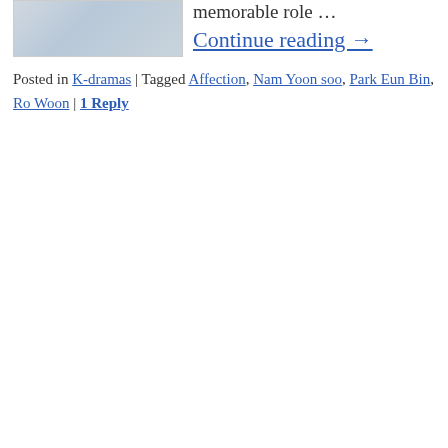[Figure (photo): A person in casual clothes (appears to be wearing a blue/denim top and white shirt) photographed from chest area, partial body visible]
memorable role … Continue reading →
Posted in K-dramas | Tagged Affection, Nam Yoon soo, Park Eun Bin, Ro Woon | 1 Reply